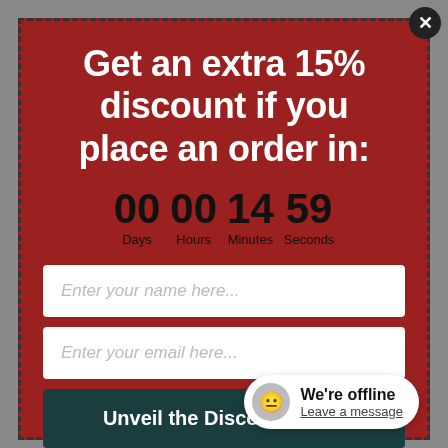Get an extra 15% discount if you place an order in:
00 Days  00 Hours  14 Minutes  59 Seconds
Enter your name here...
Enter your email here...
Unveil the Discount Code
No thanks! I'll
We're offline
Leave a message